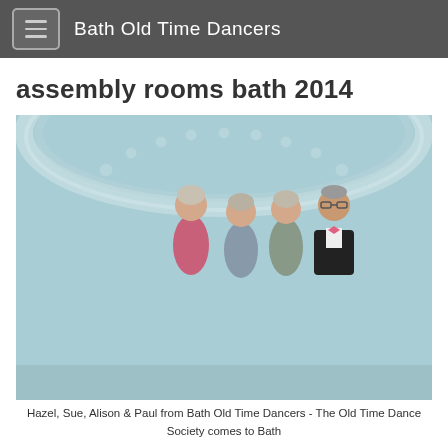Bath Old Time Dancers
assembly rooms bath 2014
[Figure (photo): Group photo of four people (Hazel, Sue, Alison & Paul) standing in front of an ornate blue room with decorative arched ceiling. The room appears to be the Assembly Rooms in Bath. Three women and one man in formal attire.]
Hazel, Sue, Alison & Paul from Bath Old Time Dancers - The Old Time Dance Society comes to Bath